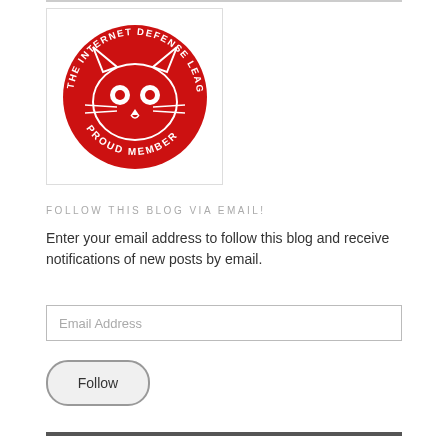[Figure (logo): The Internet Defense League - Proud Member logo: red cat face with circular text reading 'THE INTERNET DEFENSE LEAGUE' on top and 'PROUD MEMBER' on bottom, inside a white bordered square.]
FOLLOW THIS BLOG VIA EMAIL!
Enter your email address to follow this blog and receive notifications of new posts by email.
Email Address
Follow